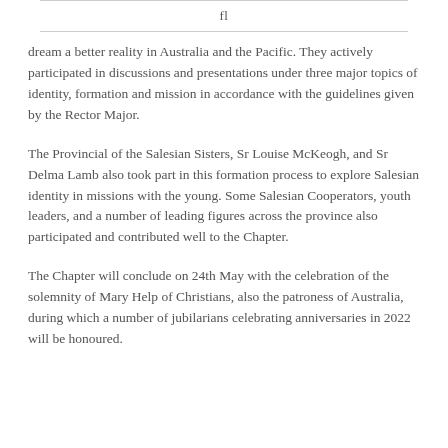fl
dream a better reality in Australia and the Pacific. They actively participated in discussions and presentations under three major topics of identity, formation and mission in accordance with the guidelines given by the Rector Major.
The Provincial of the Salesian Sisters, Sr Louise McKeogh, and Sr Delma Lamb also took part in this formation process to explore Salesian identity in missions with the young. Some Salesian Cooperators, youth leaders, and a number of leading figures across the province also participated and contributed well to the Chapter.
The Chapter will conclude on 24th May with the celebration of the solemnity of Mary Help of Christians, also the patroness of Australia, during which a number of jubilarians celebrating anniversaries in 2022 will be honoured.